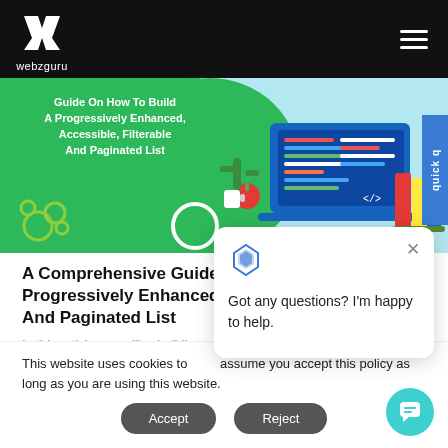webzguru navigation header
[Figure (illustration): Hero banner showing a green background with text 'Guide On How To Build A Progressively Enhanced, Accessible, Filterable And Paginated List' and a laptop with code editor illustration on a light blue background]
A Comprehensive Guide On How To Build A Progressively Enhanced, Accessible, Filterable And Paginated List
In this article, we will w... building a progressively...
This website uses cookies to assume you accept this policy as long as you are using this website.
Got any questions? I'm happy to help.